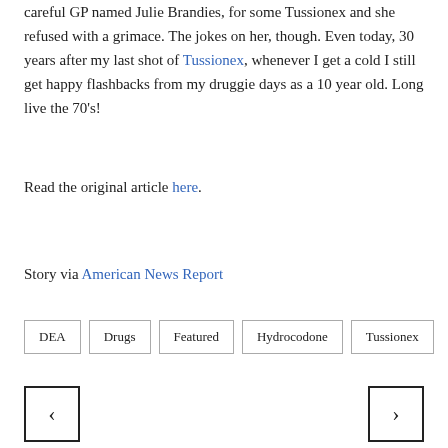careful GP named Julie Brandies, for some Tussionex and she refused with a grimace. The jokes on her, though. Even today, 30 years after my last shot of Tussionex, whenever I get a cold I still get happy flashbacks from my druggie days as a 10 year old. Long live the 70's!
Read the original article here.
Story via American News Report
DEA
Drugs
Featured
Hydrocodone
Tussionex